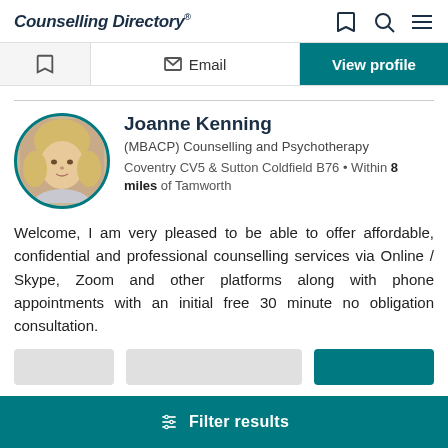Counselling Directory
Email | View profile
Joanne Kenning
(MBACP) Counselling and Psychotherapy
Coventry CV5 & Sutton Coldfield B76 • Within 8 miles of Tamworth
[Figure (photo): Circular profile photo of Joanne Kenning, a blonde woman]
Welcome, I am very pleased to be able to offer affordable, confidential and professional counselling services via Online / Skype, Zoom and other platforms along with phone appointments with an initial free 30 minute no obligation consultation.
Filter results